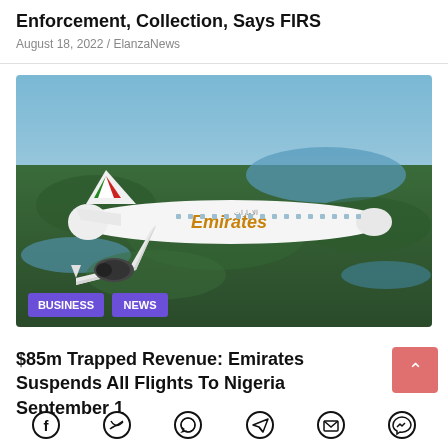Enforcement, Collection, Says FIRS
August 18, 2022 / ElanzaNews
[Figure (photo): Emirates Boeing 777 aircraft in flight over forested landscape with water bodies visible. BUSINESS and NEWS badges overlaid at bottom left.]
$85m Trapped Revenue: Emirates Suspends All Flights To Nigeria September 1
Social share icons: Facebook, Twitter, WhatsApp, Telegram, Email, Messenger